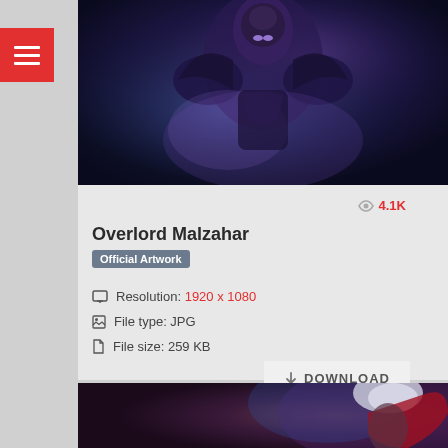[Figure (illustration): Overlord Malzahar League of Legends official artwork showing armored figure in dark purple/blue tones]
Overlord Malzahar
Official Artwork
4.1K
Resolution: 1920 x 1080
File type: JPG
File size: 259 KB
DOWNLOAD
[Figure (illustration): Bottom portion of another League of Legends character artwork with white turban and red cape]